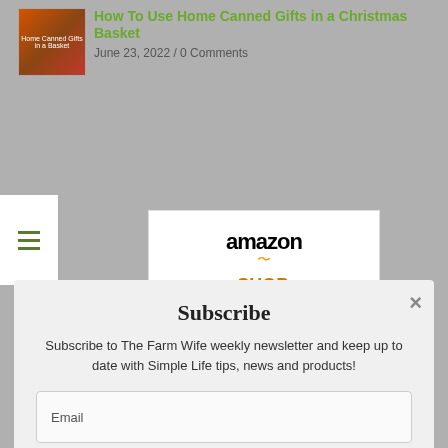How To Use Home Canned Gifts in a Christmas Basket
June 23, 2022 / 0 Comments
[Figure (screenshot): Amazon advertisement box with logo, smile icon, and tagline SHOP. CONNECT. ENJOY.]
Subscribe
Subscribe to The Farm Wife weekly newsletter and keep up to date with Simple Life tips, news and products!
Email
Name
SUBSCRIBE
New England Cheese Making Supplies